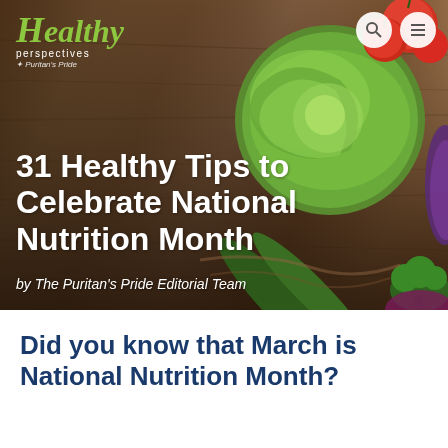[Figure (photo): Hero image showing fresh vegetables including cabbage, tomatoes, zucchini, eggplant, and broccoli arranged on a wooden board background]
31 Healthy Tips to Celebrate National Nutrition Month
by The Puritan's Pride Editorial Team
Did you know that March is National Nutrition Month?